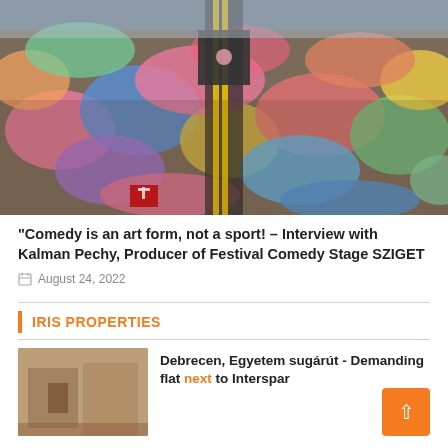[Figure (photo): Aerial drone view of a massive colorful crowd at an outdoor festival, with a central stage structure visible, people packed densely holding colorful flags and items.]
“Comedy is an art form, not a sport! – Interview with Kalman Pechy, Producer of Festival Comedy Stage SZIGET
August 24, 2022
IRIS PROPERTIES
Debrecen, Egyetem sugárút - Demanding flat next to Interspar